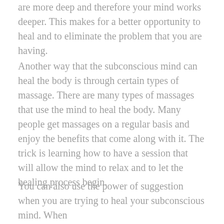are more deep and therefore your mind works deeper. This makes for a better opportunity to heal and to eliminate the problem that you are having.
Another way that the subconscious mind can heal the body is through certain types of massage. There are many types of massages that use the mind to heal the body. Many people get massages on a regular basis and enjoy the benefits that come along with it. The trick is learning how to have a session that will allow the mind to relax and to let the healing process begin.
You can also use the power of suggestion when you are trying to heal your subconscious mind. When you are looking for ways to get the subconscious mind...